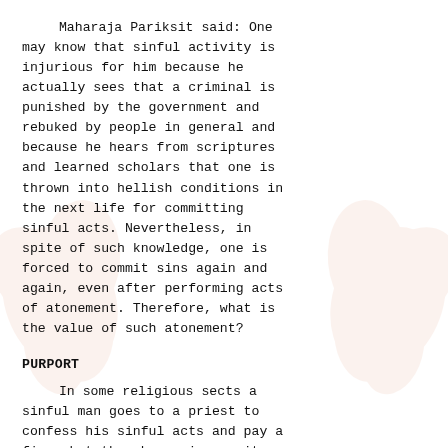Maharaja Pariksit said: One may know that sinful activity is injurious for him because he actually sees that a criminal is punished by the government and rebuked by people in general and because he hears from scriptures and learned scholars that one is thrown into hellish conditions in the next life for committing sinful acts. Nevertheless, in spite of such knowledge, one is forced to commit sins again and again, even after performing acts of atonement. Therefore, what is the value of such atonement?
PURPORT
In some religious sects a sinful man goes to a priest to confess his sinful acts and pay a fine, but then he again commits the same sins and returns to confess them again. This is the practice of a professional sinner. Pariksit Maharaja's observations indicate that even